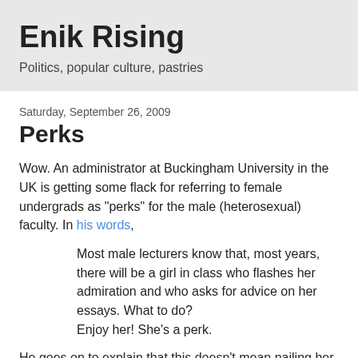Enik Rising
Politics, popular culture, pastries
Saturday, September 26, 2009
Perks
Wow. An administrator at Buckingham University in the UK is getting some flack for referring to female undergrads as "perks" for the male (heterosexual) faculty. In his words,
Most male lecturers know that, most years, there will be a girl in class who flashes her admiration and who asks for advice on her essays. What to do?
Enjoy her! She's a perk.
He goes on to explain that this doesn't mean nailing her. Rather, you should just ogle her and then transfer your